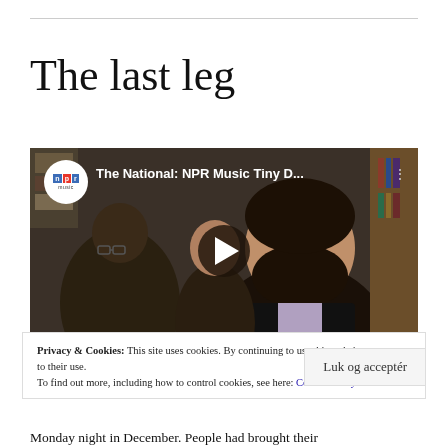The last leg
[Figure (screenshot): YouTube video thumbnail for 'The National: NPR Music Tiny D...' showing NPR Music logo in top left, video title text, three-dot menu icon, a play button in the center over a dark photo of bearded musician and crowd in a bookstore setting.]
Privacy & Cookies: This site uses cookies. By continuing to use this website, you agree to their use.
To find out more, including how to control cookies, see here: Cookie Policy
Luk og acceptér
Monday night in December. People had brought their